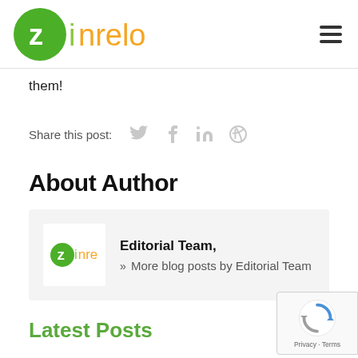[Figure (logo): Zinrelo logo with green circle Z and orange/green text 'zinrelo']
them!
Share this post:
About Author
[Figure (illustration): Author box with Zinrelo logo avatar, 'Editorial Team,' bold text and '» More blog posts by Editorial Team' link]
Latest Posts
[Figure (other): Google reCAPTCHA badge with Privacy and Terms text]